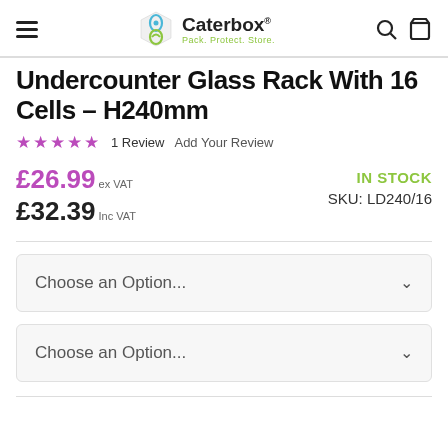Caterbox — Pack. Protect. Store.
Undercounter Glass Rack With 16 Cells – H240mm
★★★★★  1 Review  Add Your Review
£26.99 ex VAT — £32.39 Inc VAT — IN STOCK — SKU: LD240/16
Choose an Option...
Choose an Option...